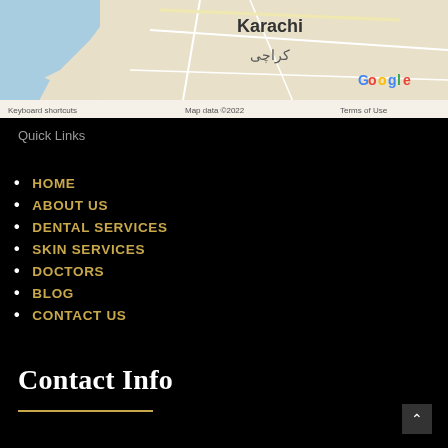[Figure (map): Google Maps screenshot showing Karachi / کراچی with map data ©2022, Keyboard shortcuts, Terms of Use labels]
Quick Links
HOME
ABOUT US
DENTAL SERVICES
SKIN SERVICES
DOCTORS
BLOG
CONTACT US
Contact Info